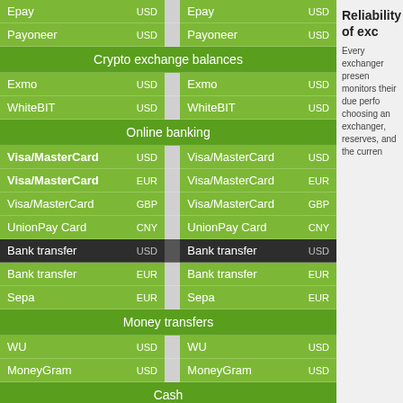| Name | Currency |  | Name | Currency |
| --- | --- | --- | --- | --- |
| Epay | USD |  | Epay | USD |
| Payoneer | USD |  | Payoneer | USD |
| Crypto exchange balances |  |  |  |  |
| Exmo | USD |  | Exmo | USD |
| WhiteBIT | USD |  | WhiteBIT | USD |
| Online banking |  |  |  |  |
| Visa/MasterCard | USD |  | Visa/MasterCard | USD |
| Visa/MasterCard | EUR |  | Visa/MasterCard | EUR |
| Visa/MasterCard | GBP |  | Visa/MasterCard | GBP |
| UnionPay Card | CNY |  | UnionPay Card | CNY |
| Bank transfer | USD |  | Bank transfer | USD |
| Bank transfer | EUR |  | Bank transfer | EUR |
| Sepa | EUR |  | Sepa | EUR |
| Money transfers |  |  |  |  |
| WU | USD |  | WU | USD |
| MoneyGram | USD |  | MoneyGram | USD |
| Cash |  |  |  |  |
| Cash | USD |  | Cash | USD |
| Cash | EUR |  | Cash | EUR |
Reliability of exc
Every exchanger presen monitors their due perfo choosing an exchanger, reserves, and the curren